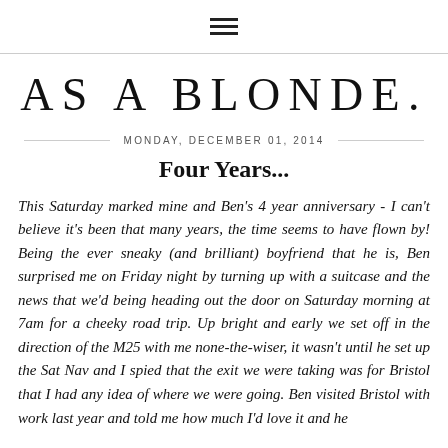≡
AS A BLONDE.
MONDAY, DECEMBER 01, 2014
Four Years...
This Saturday marked mine and Ben's 4 year anniversary - I can't believe it's been that many years, the time seems to have flown by! Being the ever sneaky (and brilliant) boyfriend that he is, Ben surprised me on Friday night by turning up with a suitcase and the news that we'd being heading out the door on Saturday morning at 7am for a cheeky road trip. Up bright and early we set off in the direction of the M25 with me none-the-wiser, it wasn't until he set up the Sat Nav and I spied that the exit we were taking was for Bristol that I had any idea of where we were going. Ben visited Bristol with work last year and told me how much I'd love it and he